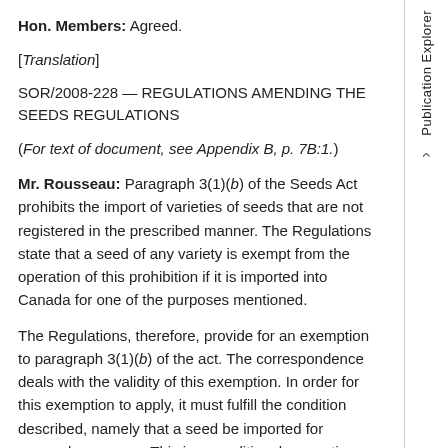Hon. Members: Agreed.
[Translation]
SOR/2008-228 — REGULATIONS AMENDING THE SEEDS REGULATIONS
(For text of document, see Appendix B, p. 7B:1.)
Mr. Rousseau: Paragraph 3(1)(b) of the Seeds Act prohibits the import of varieties of seeds that are not registered in the prescribed manner. The Regulations state that a seed of any variety is exempt from the operation of this prohibition if it is imported into Canada for one of the purposes mentioned.
The Regulations, therefore, provide for an exemption to paragraph 3(1)(b) of the act. The correspondence deals with the validity of this exemption. In order for this exemption to apply, it must fulfill the condition described, namely that a seed be imported for research purposes. This is a conditional exemption.
Under paragraph 4(1)(f) of the Seeds Act, the Governor-in-Council may make regulations, and I quote the act: